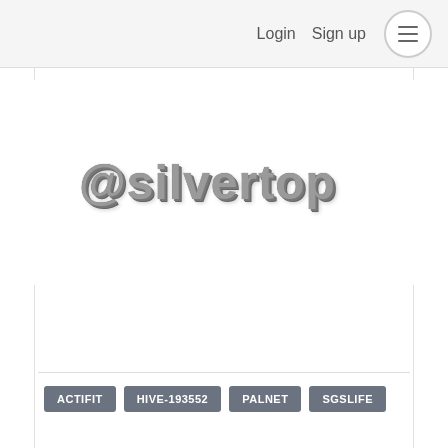Login  Sign up  ☰
[Figure (logo): @silvertop styled 3D gray text logo]
[Figure (illustration): #SilverGoldStackers banner on wood background with gold coins. Text: '#SilverGoldStackers - Promoting smart investments in precious metals within the blockchain world']
ACTIFIT
HIVE-193552
PALNET
SGSLIFE